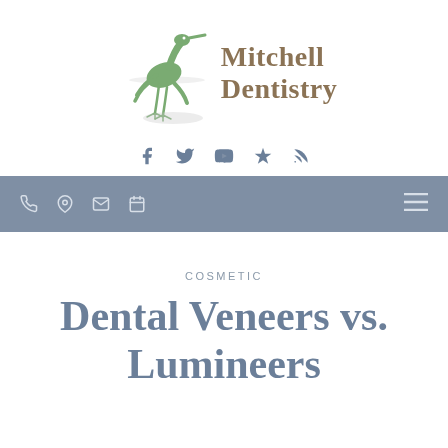[Figure (logo): Mitchell Dentistry logo with green heron bird and brown text]
Social media icons: Facebook, Twitter, YouTube, Yelp, RSS
Navigation bar with phone, location, mail, calendar icons and hamburger menu
COSMETIC
Dental Veneers vs. Lumineers